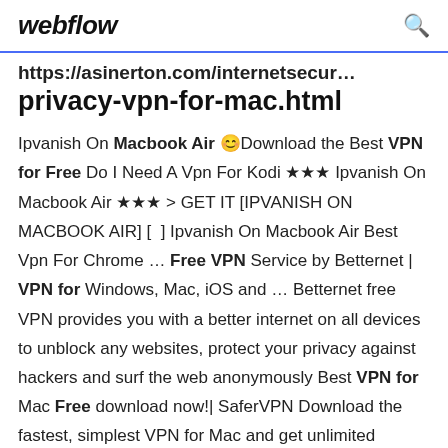webflow  🔍
https://asinerton.com/internetsecur…privacy-vpn-for-mac.html
Ipvanish On Macbook Air 😊Download the Best VPN for Free Do I Need A Vpn For Kodi ★★★ Ipvanish On Macbook Air ★★★ > GET IT [IPVANISH ON MACBOOK AIR] [  ] Ipvanish On Macbook Air Best Vpn For Chrome ... Free VPN Service by Betternet | VPN for Windows, Mac, iOS and ... Betternet free VPN provides you with a better internet on all devices to unblock any websites, protect your privacy against hackers and surf the web anonymously Best VPN for Mac Free download now!| SaferVPN Download the fastest, simplest VPN for Mac and get unlimited privacy, security and freedom…